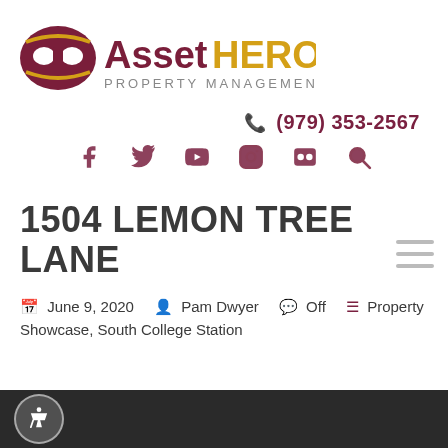[Figure (logo): AssetHERO Property Management logo — shield/mask icon in dark red with yellow accent, text 'Asset' in dark red bold and 'HERO' in gold/yellow bold, 'PROPERTY MANAGEMENT' in gray below]
☎ (979) 353-2567
[Figure (infographic): Social media icons row: Facebook, Twitter, YouTube, Instagram, Flickr, Search — all in dark red/maroon color]
1504 LEMON TREE LANE
📅 June 9, 2020  👤 Pam Dwyer  💬 Off  ☰ Property Showcase, South College Station